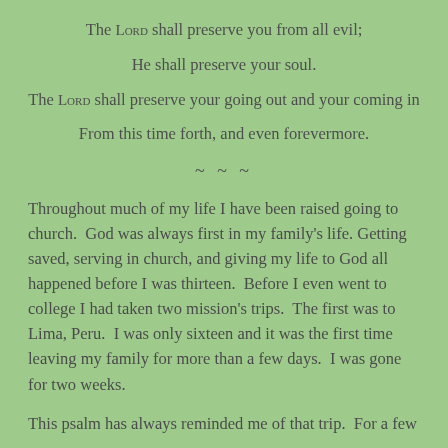The LORD shall preserve you from all evil;
He shall preserve your soul.
The LORD shall preserve your going out and your coming in
From this time forth, and even forevermore.
~~~
Throughout much of my life I have been raised going to church.  God was always first in my family's life. Getting saved, serving in church, and giving my life to God all happened before I was thirteen.  Before I even went to college I had taken two mission's trips.  The first was to Lima, Peru.  I was only sixteen and it was the first time leaving my family for more than a few days.  I was gone for two weeks.
This psalm has always reminded me of that trip.  For a few